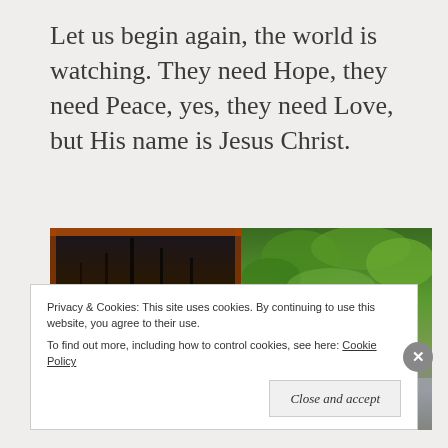Let us begin again, the world is watching. They need Hope, they need Peace, yes, they need Love, but His name is Jesus Christ.
[Figure (photo): Two side-by-side photographs: left photo shows a sunset reflected in the mirror of a car, with silhouetted trees and an orange glowing sun; right photo shows green leafy branches and trees with a rocky riverbed or cliff visible in the background.]
Privacy & Cookies: This site uses cookies. By continuing to use this website, you agree to their use. To find out more, including how to control cookies, see here: Cookie Policy
Close and accept